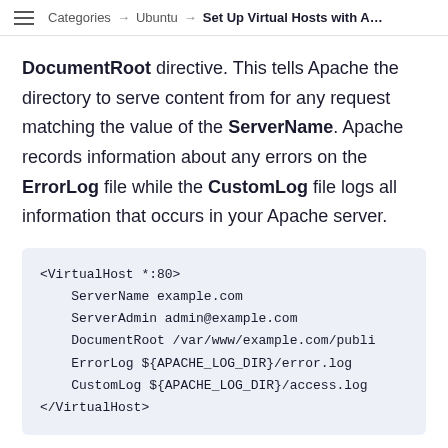Categories → Ubuntu → Set Up Virtual Hosts with A…
DocumentRoot directive. This tells Apache the directory to serve content from for any request matching the value of the ServerName. Apache records information about any errors on the ErrorLog file while the CustomLog file logs all information that occurs in your Apache server.
<VirtualHost *:80>
    ServerName example.com
    ServerAdmin admin@example.com
    DocumentRoot /var/www/example.com/publi
    ErrorLog ${APACHE_LOG_DIR}/error.log
    CustomLog ${APACHE_LOG_DIR}/access.log
</VirtualHost>